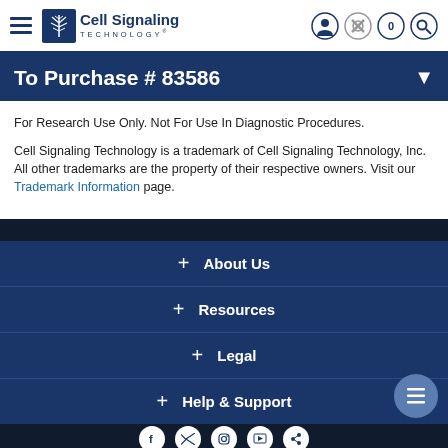[Figure (logo): Cell Signaling Technology logo with tree icon and navigation icons]
To Purchase # 83586
For Research Use Only. Not For Use In Diagnostic Procedures.
Cell Signaling Technology is a trademark of Cell Signaling Technology, Inc.
All other trademarks are the property of their respective owners. Visit our Trademark Information page.
+ About Us
+ Resources
+ Legal
+ Help & Support